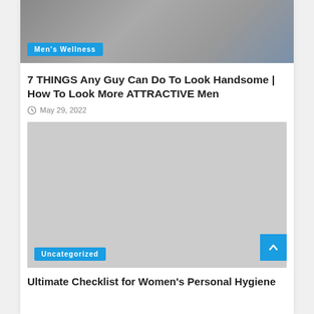[Figure (photo): Dark colored photo of a man in a suit, partially visible, with a Men's Wellness badge overlay]
7 THINGS Any Guy Can Do To Look Handsome | How To Look More ATTRACTIVE Men
May 29, 2022
[Figure (photo): Gray placeholder image with Uncategorized badge and back-to-top button]
Ultimate Checklist for Women's Personal Hygiene